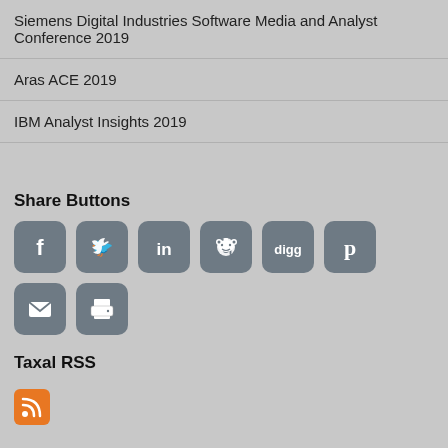Siemens Digital Industries Software Media and Analyst Conference 2019
Aras ACE 2019
IBM Analyst Insights 2019
Share Buttons
[Figure (infographic): Row of social share icon buttons: Facebook, Twitter, LinkedIn, Reddit, Digg, Pinterest, Email, Print]
Taxal RSS
[Figure (infographic): RSS feed icon in orange square]